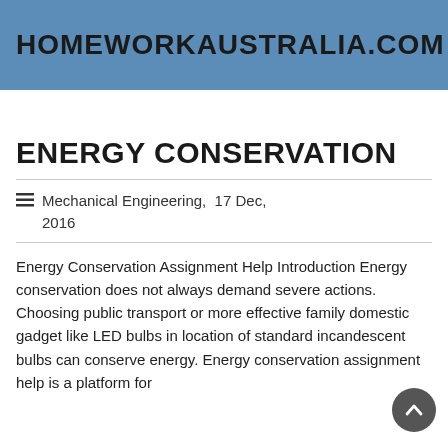HOMEWORKAUSTRALIA.COM
ENERGY CONSERVATION
☰ Mechanical Engineering,  17 Dec, 2016
Energy Conservation Assignment Help Introduction Energy conservation does not always demand severe actions. Choosing public transport or more effective family domestic gadget like LED bulbs in location of standard incandescent bulbs can conserve energy. Energy conservation assignment help is a platform for